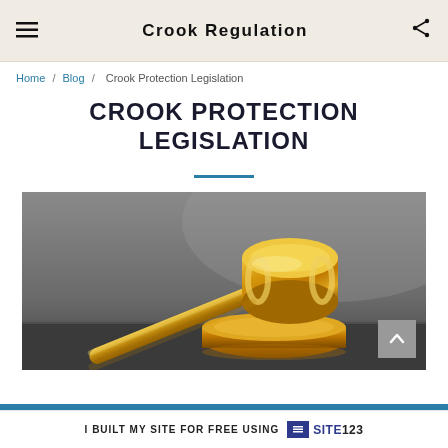Crook Regulation
Home / Blog / Crook Protection Legislation
CROOK PROTECTION LEGISLATION
[Figure (photo): A gold gavel resting on a sound block on a reflective gray surface, close-up photograph.]
I BUILT MY SITE FOR FREE USING SITE123